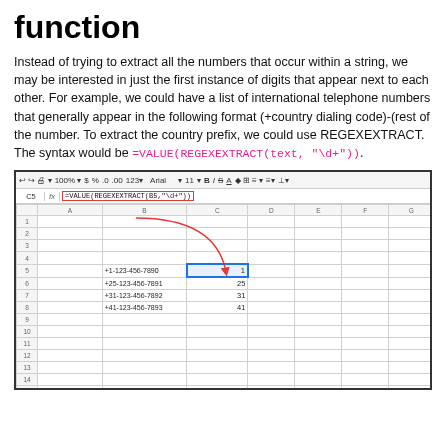function
Instead of trying to extract all the numbers that occur within a string, we may be interested in just the first instance of digits that appear next to each other. For example, we could have a list of international telephone numbers that generally appear in the following format (+country dialing code)-(rest of the number. To extract the country prefix, we could use REGEXEXTRACT. The syntax would be =VALUE(REGEXEXTRACT(text, "\d+")).
[Figure (screenshot): Google Sheets screenshot showing the formula =VALUE(REGEXEXTRACT(B5,"\d+")) in cell C5. Column B contains phone numbers: +1-123-456-7890, +25-123-456-7891, +31-123-456-7892, +41-123-456-7893. Column C shows extracted country codes: 1, 25, 31, 41. A red arrow points from the formula bar to cell C5.]